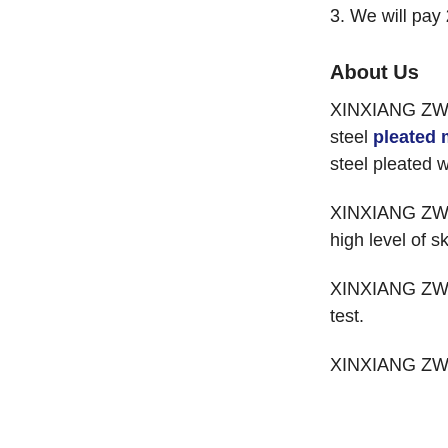3. We will pay 2
About Us
XINXIANG ZWE
steel pleated m
steel pleated win
XINXIANG ZWE
high level of skil
XINXIANG ZWE
test.
XINXIANG ZWE